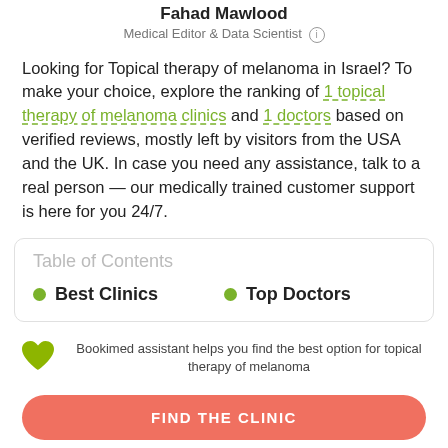Fahad Mawlood
Medical Editor & Data Scientist ℹ
Looking for Topical therapy of melanoma in Israel? To make your choice, explore the ranking of 1 topical therapy of melanoma clinics and 1 doctors based on verified reviews, mostly left by visitors from the USA and the UK. In case you need any assistance, talk to a real person — our medically trained customer support is here for you 24/7.
Table of Contents
Best Clinics
Top Doctors
Bookimed assistant helps you find the best option for topical therapy of melanoma
FIND THE CLINIC